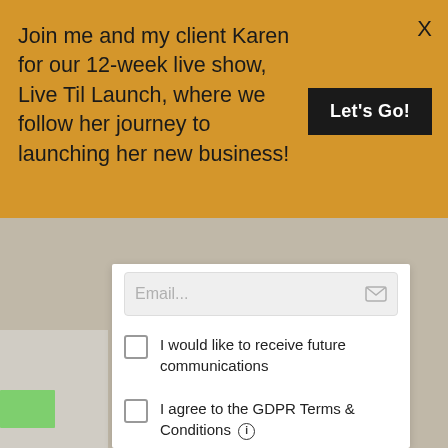Join me and my client Karen for our 12-week live show, Live Til Launch, where we follow her journey to launching her new business!
X
Let's Go!
[Figure (screenshot): Email input field with placeholder text 'Email...' and envelope icon]
I would like to receive future communications
I agree to the GDPR Terms & Conditions (i)
SEND ME THE GUIDE